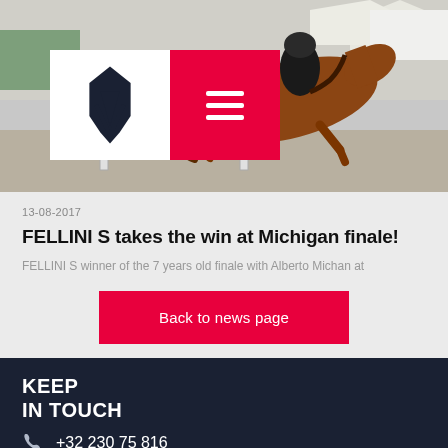[Figure (photo): Hero image of a horse and rider jumping at an equestrian competition, with a white logo box and red hamburger menu button overlay in the top-left area.]
13-08-2017
FELLINI S takes the win at Michigan finale!
FELLINI S winner of the 7 years old finale with Alberto Michan at
Back to news page
KEEP
IN TOUCH
+32 230 75 816